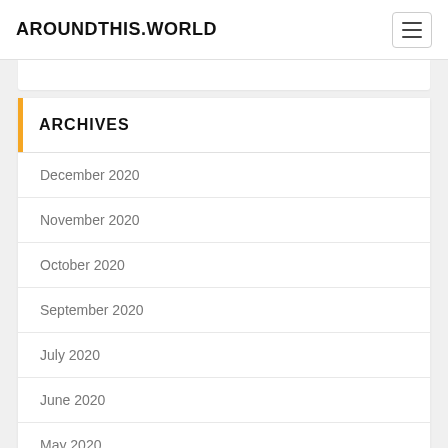AROUNDTHIS.WORLD
ARCHIVES
December 2020
November 2020
October 2020
September 2020
July 2020
June 2020
May 2020